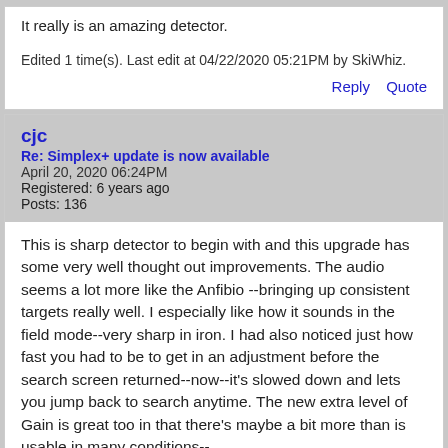It really is an amazing detector.
Edited 1 time(s). Last edit at 04/22/2020 05:21PM by SkiWhiz.
Reply   Quote
cjc
Re: Simplex+ update is now available
April 20, 2020 06:24PM
Registered: 6 years ago
Posts: 136
This is sharp detector to begin with and this upgrade has some very well thought out improvements. The audio seems a lot more like the Anfibio --bringing up consistent targets really well. I especially like how it sounds in the field mode--very sharp in iron. I had also noticed just how fast you had to be to get in an adjustment before the search screen returned--now--it's slowed down and lets you jump back to search anytime. The new extra level of Gain is great too in that there's maybe a bit more than is usable in many conditions--